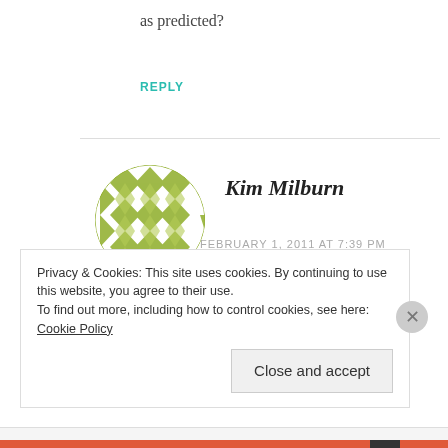as predicted?
REPLY
Kim Milburn
FEBRUARY 1, 2011 AT 7:39 PM
Since baby boomers have longer life expectancies, have not adequately prepared for financial needs, have a
Privacy & Cookies: This site uses cookies. By continuing to use this website, you agree to their use.
To find out more, including how to control cookies, see here: Cookie Policy
Close and accept